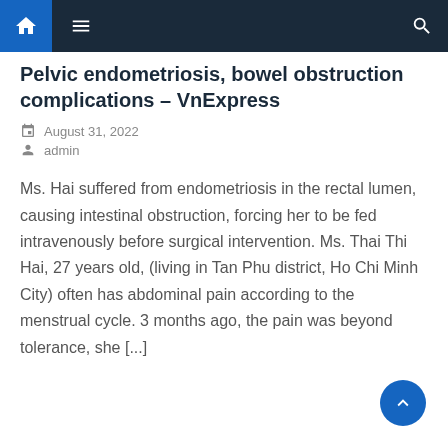Navigation bar with home, menu, and search icons
Pelvic endometriosis, bowel obstruction complications – VnExpress
August 31, 2022
admin
Ms. Hai suffered from endometriosis in the rectal lumen, causing intestinal obstruction, forcing her to be fed intravenously before surgical intervention. Ms. Thai Thi Hai, 27 years old, (living in Tan Phu district, Ho Chi Minh City) often has abdominal pain according to the menstrual cycle. 3 months ago, the pain was beyond tolerance, she [...]